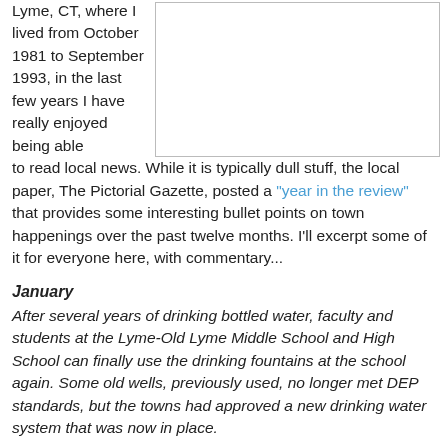Lyme, CT, where I lived from October 1981 to September 1993, in the last few years I have really enjoyed being able to read local news. While it is typically dull stuff, the local paper, The Pictorial Gazette, posted a "year in the review" that provides some interesting bullet points on town happenings over the past twelve months. I'll excerpt some of it for everyone here, with commentary...
[Figure (other): Empty white box with gray border, likely a placeholder for an image]
January
After several years of drinking bottled water, faculty and students at the Lyme-Old Lyme Middle School and High School can finally use the drinking fountains at the school again. Some old wells, previously used, no longer met DEP standards, but the towns had approved a new drinking water system that was now in place.
I remember the fountain water tasting like old pennies, so this doesn't surprise me. All of the fountain heads were